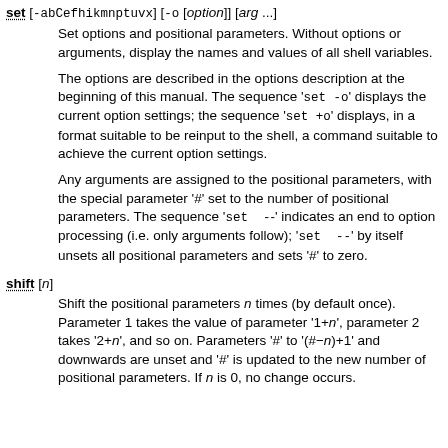set [-abCefhikmnptuvx] [-o [option]] [arg ...]
    Set options and positional parameters. Without options or arguments, display the names and values of all shell variables.

    The options are described in the options description at the beginning of this manual. The sequence 'set -o' displays the current option settings; the sequence 'set +o' displays, in a format suitable to be reinput to the shell, a command suitable to achieve the current option settings.

    Any arguments are assigned to the positional parameters, with the special parameter '#' set to the number of positional parameters. The sequence 'set --' indicates an end to option processing (i.e. only arguments follow); 'set --' by itself unsets all positional parameters and sets '#' to zero.
shift [n]
    Shift the positional parameters n times (by default once). Parameter 1 takes the value of parameter '1+n', parameter 2 takes '2+n', and so on. Parameters '#' to '(#−n)+1' and downwards are unset and '#' is updated to the new number of positional parameters. If n is 0, no change occurs.